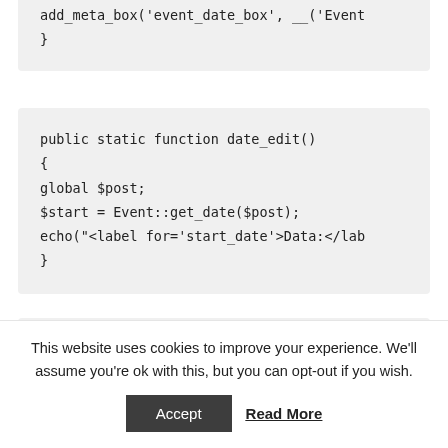add_meta_box('event_date_box', __('Event
    }
public static function date_edit()
    {
    global $post;
    $start = Event::get_date($post);
    echo("<label for='start_date'>Data:</lab
    }
(partial/clipped code block)
This website uses cookies to improve your experience. We'll assume you're ok with this, but you can opt-out if you wish.